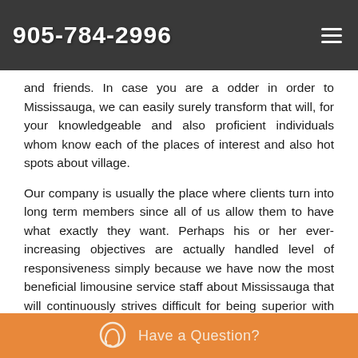905-784-2996
homecoming, at his shows infant showers model ceremonies), airport choose and drop, funerals or merely an informal night out with family and friends. In case you are a odder in order to Mississauga, we can easily surely transform that will, for your knowledgeable and also proficient individuals whom know each of the places of interest and also hot spots about village.
Our company is usually the place where clients turn into long term members since all of us allow them to have what exactly they want. Perhaps his or her ever-increasing objectives are actually handled level of responsiveness simply because we have now the most beneficial limousine service staff about Mississauga that will continuously strives difficult for being superior with every single moving past evening.
Have a Question?